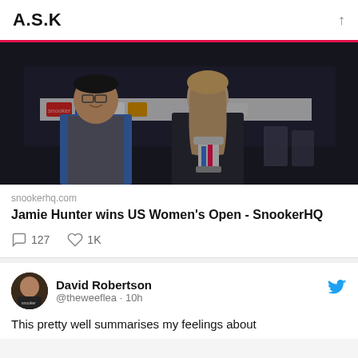A.S.K
[Figure (photo): Two people posing at a snooker event venue; one man in blue shirt and grey vest, one woman in dark jacket holding a trophy with blue and pink ribbon. Banner with sponsor logos visible in background.]
snookerhq.com
Jamie Hunter wins US Women's Open - SnookerHQ
127   1K
David Robertson @theweeflea · 10h
This pretty well summarises my feelings about